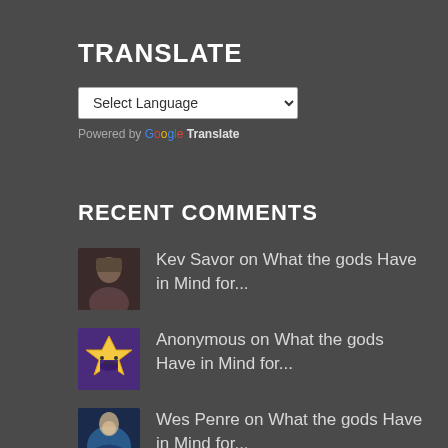TRANSLATE
[Figure (screenshot): Google Translate language selector widget with 'Select Language' dropdown and 'Powered by Google Translate' text]
RECENT COMMENTS
Kev Savor on What the gods Have in Mind for...
Anonymous on What the gods Have in Mind for...
Wes Penre on What the gods Have in Mind for...
Wes Penre on Q&A Session #1, August